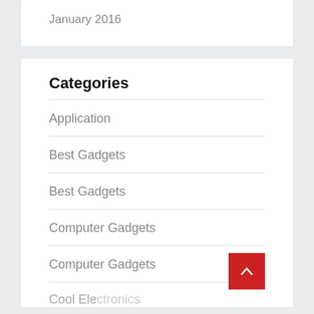January 2016
Categories
Application
Best Gadgets
Best Gadgets
Computer Gadgets
Computer Gadgets
Cool Electronics